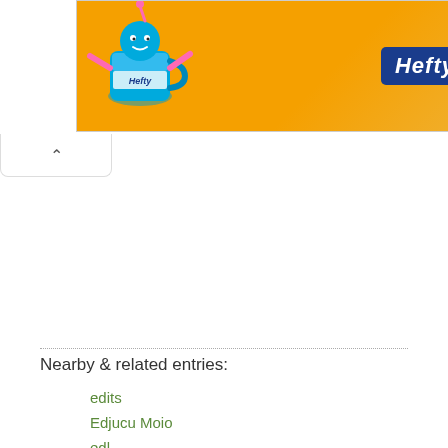[Figure (other): Orange Hefty brand advertisement banner with animated mug character on left and Hefty logo on right]
Nearby & related entries:
edits
Edjucu Moio
edl